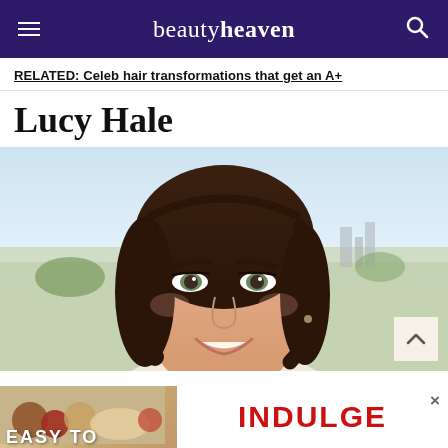beautyheaven
RELATED: Celeb hair transformations that get an A+
Lucy Hale
[Figure (photo): Portrait photo of Lucy Hale, a young woman with short dark wavy brown hair, green eyes, wearing natural makeup, smiling, with a cityscape and blue sky in the background.]
EASY TO INDULGE